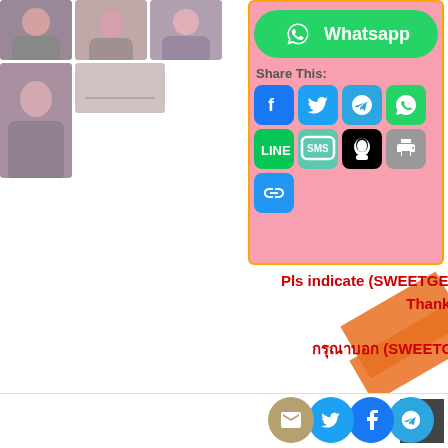[Figure (photo): Grid of small thumbnail photos on left side]
[Figure (screenshot): Whatsapp button and social share icons panel with Facebook, Twitter, Telegram, WhatsApp, LINE, SMS, QQ, Print, Link icons]
Pls indicate (SWEETGEMS) when calling👍 Thanks!
กรุณาบอก (SWEETGEMS) ด้วยนะคะ
[Figure (infographic): Footer social share icons: email, twitter, facebook, telegram circles with scroll-up button]